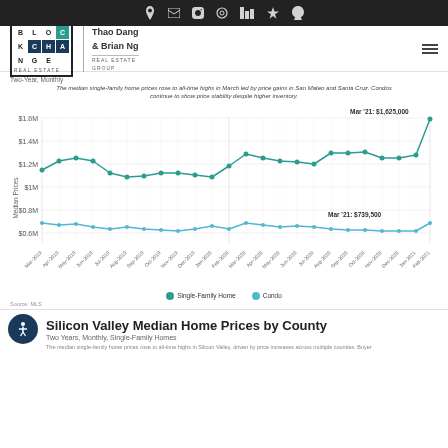BlockChange Real Estate — Thao Dang & Brian Ng Real Estate Group
Two-Year, Monthly
The median single-family home prices rose to all-time highs in March led by price gains in San Mateo and Santa Cruz. Condos continue to show price stability despite higher inventory.
[Figure (line-chart): Median Prices]
Source: MLS
Silicon Valley Median Home Prices by County
Two Years, Monthly, Single-Family Homes